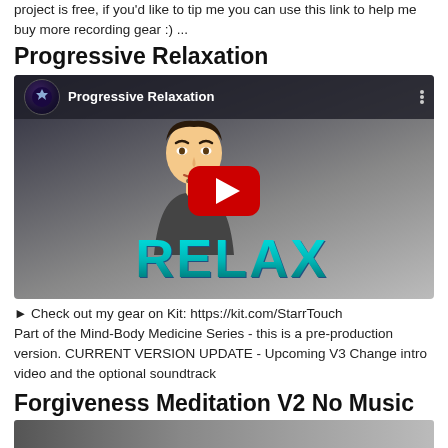project is free, if you'd like to tip me you can use this link to help me buy more recording gear :) ...
Progressive Relaxation
[Figure (screenshot): YouTube video thumbnail for 'Progressive Relaxation' by StarrTouch channel, showing a cartoon bitmoji figure with the word RELAX in large teal 3D block letters and a YouTube play button overlay.]
► Check out my gear on Kit: https://kit.com/StarrTouch
Part of the Mind-Body Medicine Series - this is a pre-production version. CURRENT VERSION UPDATE - Upcoming V3 Change intro video and the optional soundtrack
Forgiveness Meditation V2 No Music
[Figure (screenshot): Bottom portion of another YouTube video thumbnail, partially visible.]